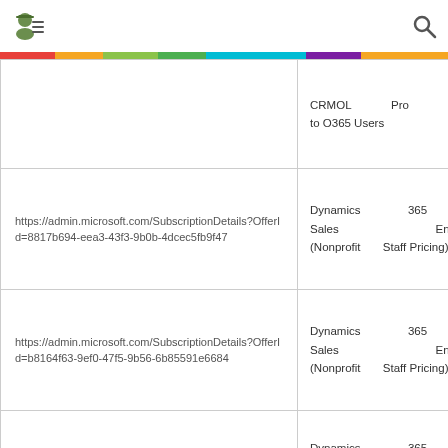Navigation bar with menu icon and search icon
| URL | Product Name |
| --- | --- |
|  | CRMOL Pro Add-On to O365 Users |
| https://admin.microsoft.com/SubscriptionDetails?OfferId=8817b694-eea3-43f3-9b0b-4dcec5fb9f47 | Dynamics 365 for Sales Enterprise (Nonprofit Staff Pricing) |
| https://admin.microsoft.com/SubscriptionDetails?OfferId=b8164f63-9ef0-47f5-9b56-6b85591e6684 | Dynamics 365 for Sales Enterprise (Nonprofit Staff Pricing) |
| https://admin.microsoft.com/SubscriptionDetails?OfferId=3cb6b660-576d-4425-a84f-54c13a8075eb | Dynamics 365 for Sales Enterprise (Nonprofit Staff Pricing) (Device) |
| https://admin.microsoft.com/SubscriptionDetails? | Dynamics 365 for Sales Enterprise... |